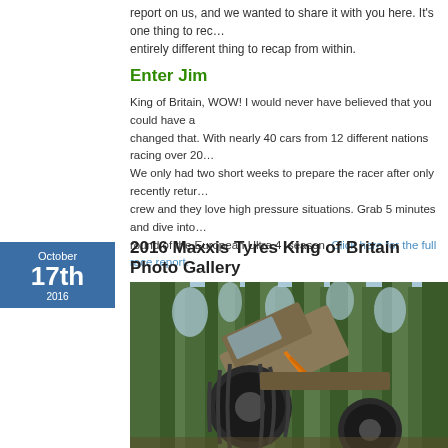report on us, and we wanted to share it with you here. It's one thing to rec... entirely different thing to recap from within.
Enter Jim
King of Britain, WOW! I would never have believed that you could have a... changed that. With nearly 40 cars from 12 different nations racing over 20... We only had two short weeks to prepare the racer after only recently retur... crew and they love high pressure situations. Grab 5 minutes and dive into... round of the European Ultra 4  season. Click here for the full race report.
2016 Maxxis Tyres King of Britain Photo Gallery
[Figure (photo): Off-road 4x4 race vehicle with large knobby tyres tilted at an angle in a forest setting with tall pine trees in the background. The photo is taken from a low angle looking up.]